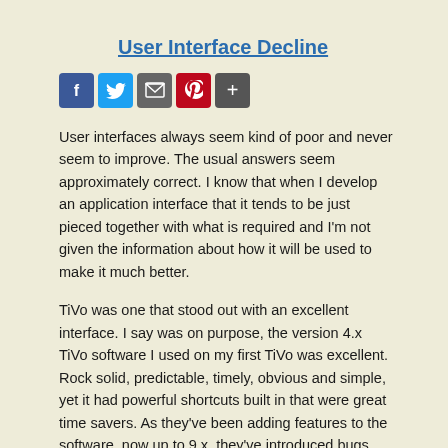User Interface Decline
[Figure (other): Social sharing icons: Facebook, Twitter, mail/bookmark, Pinterest, and a plus/more button]
User interfaces always seem kind of poor and never seem to improve. The usual answers seem approximately correct. I know that when I develop an application interface that it tends to be just pieced together with what is required and I'm not given the information about how it will be used to make it much better.
TiVo was one that stood out with an excellent interface. I say was on purpose, the version 4.x TiVo software I used on my first TiVo was excellent. Rock solid, predictable, timely, obvious and simple, yet it had powerful shortcuts built in that were great time savers. As they've been adding features to the software, now up to 9.x, they've introduced bugs, lag, complexity and disorganization. For example, nearly the entire interface is now rendered dynamically, slow enough that menus and options change as you are viewing them and if you get too far ahead with the navigation, you start...